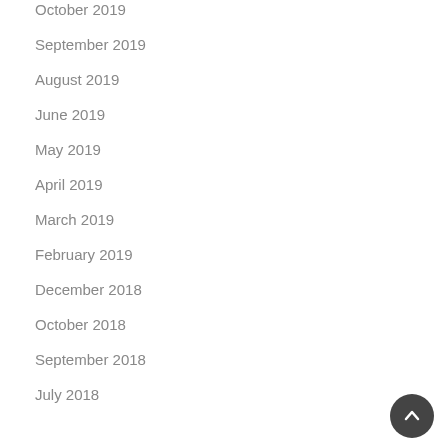October 2019
September 2019
August 2019
June 2019
May 2019
April 2019
March 2019
February 2019
December 2018
October 2018
September 2018
July 2018